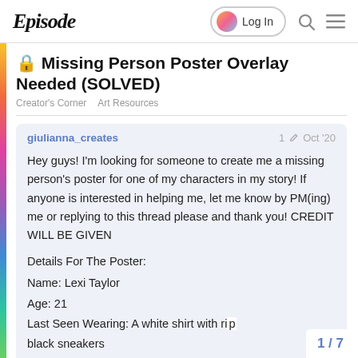Episode — Log In
🔒 Missing Person Poster Overlay Needed (SOLVED)
Creator's Corner   Art Resources
giulianna_creates — 1 ✏ Oct '20
Hey guys! I'm looking for someone to create me a missing person's poster for one of my characters in my story! If anyone is interested in helping me, let me know by PM(ing) me or replying to this thread please and thank you! CREDIT WILL BE GIVEN

Details For The Poster:
Name: Lexi Taylor
Age: 21
Last Seen Wearing: A white shirt with rip... black sneakers
1 / 7